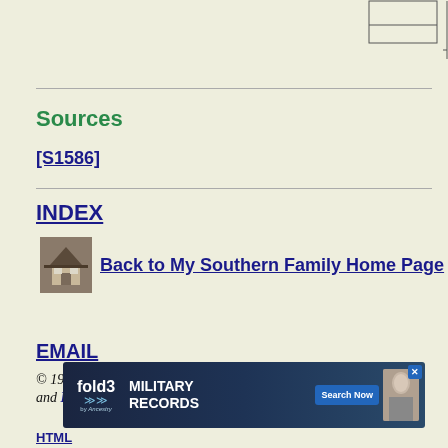[Figure (other): Partial view of a table or form with border lines at top right corner of page]
Sources
[S1586]
INDEX
[Figure (photo): Small thumbnail photo of a Southern plantation-style house]
Back to My Southern Family Home Page
EMAIL
© 1995, 1997, 1998, 2000. Josephine Lindsay Bass and Beck...
[Figure (other): Fold3 Military Records advertisement banner with ancestry logo and Search Now button]
HTML